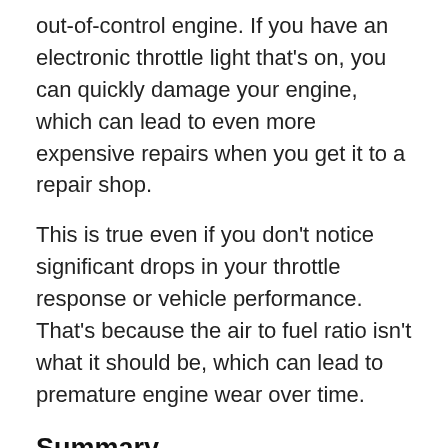out-of-control engine. If you have an electronic throttle light that's on, you can quickly damage your engine, which can lead to even more expensive repairs when you get it to a repair shop.
This is true even if you don't notice significant drops in your throttle response or vehicle performance. That's because the air to fuel ratio isn't what it should be, which can lead to premature engine wear over time.
Summary
While you might feel that everything is getting more complicated in modern vehicles, these complicated features have huge benefits. Not only do you get better fuel economy, but you get a more powerful and a more responsive engine.
See more: Does The Czech Republic Use Euros,